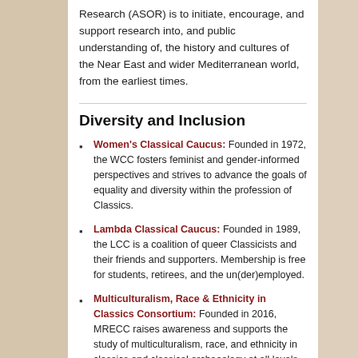Research (ASOR) is to initiate, encourage, and support research into, and public understanding of, the history and cultures of the Near East and wider Mediterranean world, from the earliest times.
Diversity and Inclusion
Women's Classical Caucus: Founded in 1972, the WCC fosters feminist and gender-informed perspectives and strives to advance the goals of equality and diversity within the profession of Classics.
Lambda Classical Caucus: Founded in 1989, the LCC is a coalition of queer Classicists and their friends and supporters. Membership is free for students, retirees, and the un(der)employed.
Multiculturalism, Race & Ethnicity in Classics Consortium: Founded in 2016, MRECC raises awareness and supports the study of multiculturalism, race, and ethnicity in classics and classical archaeology at all levels. Membership is free.
The Mountaintop Coalition: Founded in 2018, this